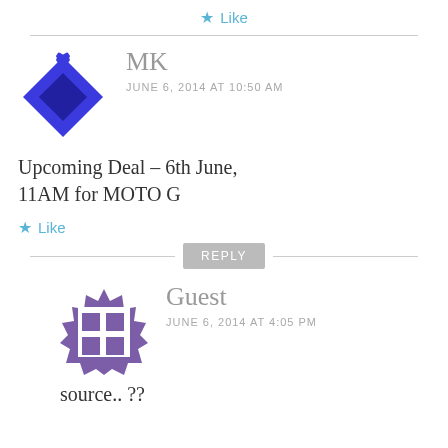★ Like
MK
JUNE 6, 2014 AT 10:50 AM
Upcoming Deal – 6th June, 11AM for MOTO G
★ Like
REPLY
Guest
JUNE 6, 2014 AT 4:05 PM
source.. ??